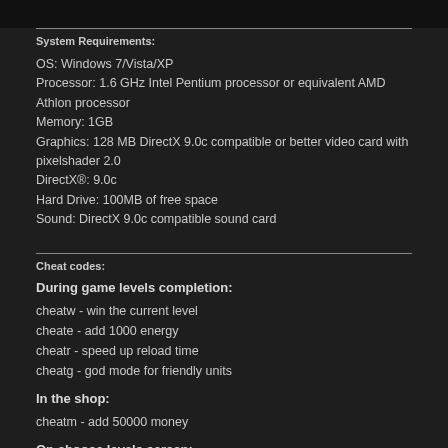System Requirements:
OS: Windows 7/Vista/XP
Processor: 1.6 GHz Intel Pentium processor or equivalent AMD Athlon processor
Memory: 1GB
Graphics: 128 MB DirectX 9.0c compatible or better video card with pixelshader 2.0
DirectX®: 9.0c
Hard Drive: 100MB of free space
Sound: DirectX 9.0c compatible sound card
Cheat codes:
During game levels completion:
cheatw - win the current level
cheate - add 1000 energy
cheatr - speed up reload time
cheatg - god mode for friendly units
In the shop:
cheatm - add 50000 money
On choose levels screen:
cheatu - unlock all levels